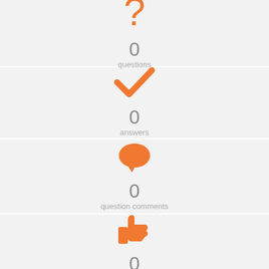[Figure (infographic): Orange question mark icon with count 0 and label 'questions']
[Figure (infographic): Orange checkmark icon with count 0 and label 'answers']
[Figure (infographic): Orange speech bubble icon with count 0 and label 'question comments']
[Figure (infographic): Orange thumbs up icon with count 0 (partially visible)]